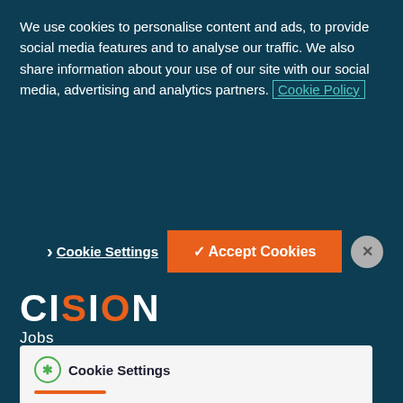We use cookies to personalise content and ads, to provide social media features and to analyse our traffic. We also share information about your use of our site with our social media, advertising and analytics partners. Cookie Policy
Cookie Settings
✓ Accept Cookies
[Figure (logo): CISION Jobs logo in white and orange on dark teal background]
About Us
Contact Us
Terms & Conditions
Privacy Policy
Accessibility
Cookie Settings